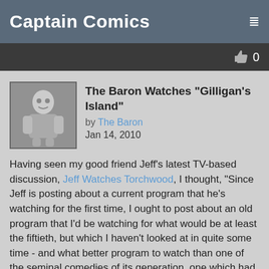Captain Comics
The Baron Watches "Gilligan's Island"
by The Baron
Jan 14, 2010
Having seen my good friend Jeff's latest TV-based discussion, Jeff Watches Torchwood, I thought, "Since Jeff is posting about a current program that he's watching for the first time, I ought to post about an old program that I'd be watching for what would be at least the fiftieth, but which I haven't looked at in quite some time - and what better program to watch than one of the seminal comedies of its generation, one which had a profound impact on American television, and which went on to inspire such varied fare as Dusty's Trail, Far Out Space Nuts, and Lost.